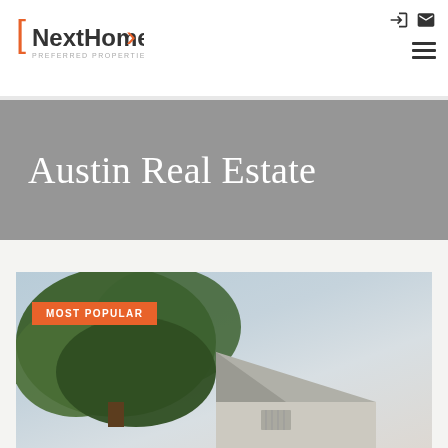[Figure (logo): NextHome Preferred Properties logo with orange bracket marks]
Austin Real Estate
[Figure (photo): Exterior photograph of a residential home with a large tree in foreground and sky in background, labeled MOST POPULAR]